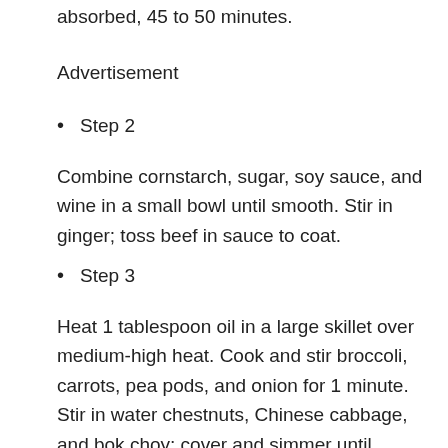absorbed, 45 to 50 minutes.
Advertisement
Step 2
Combine cornstarch, sugar, soy sauce, and wine in a small bowl until smooth. Stir in ginger; toss beef in sauce to coat.
Step 3
Heat 1 tablespoon oil in a large skillet over medium-high heat. Cook and stir broccoli, carrots, pea pods, and onion for 1 minute. Stir in water chestnuts, Chinese cabbage, and bok choy; cover and simmer until vegetables are tender, about 4 minutes. Remove from skillet and keep warm.